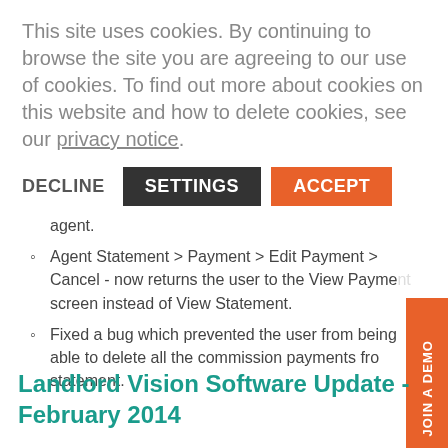This site uses cookies. By continuing to browse the site you are agreeing to our use of cookies. To find out more about cookies on this website and how to delete cookies, see our privacy notice.
agent.
Agent Statement > Payment > Edit Payment > Cancel - now returns the user to the View Payment screen instead of View Statement.
Fixed a bug which prevented the user from being able to delete all the commission payments from a statement.
Landlord Vision Software Update - February 2014